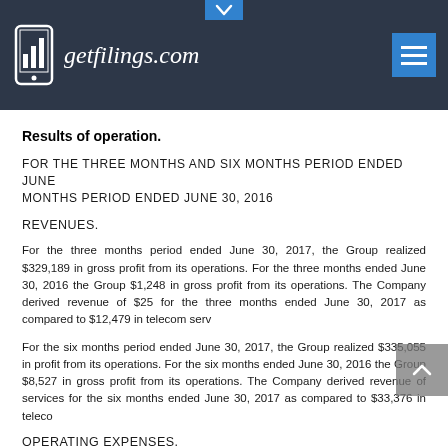getfilings.com
Results of operation.
FOR THE THREE MONTHS AND SIX MONTHS PERIOD ENDED JUNE [30, 2017 AND FOR THE THREE MONTHS PERIOD ENDED JUNE 30, 2016]
REVENUES.
For the three months period ended June 30, 2017, the Group realized $329,189 in gross profit from its operations. For the three months ended June 30, 2016 the Group realized $1,248 in gross profit from its operations. The Company derived revenue of $25[...] for the three months ended June 30, 2017 as compared to $12,479 in telecom serv[ices]
For the six months period ended June 30, 2017, the Group realized $335,055 in gross profit from its operations. For the six months ended June 30, 2016 the Group realized $8,527 in gross profit from its operations. The Company derived revenue of [...] services for the six months ended June 30, 2017 as compared to $33,376 in teleco[m]
OPERATING EXPENSES.